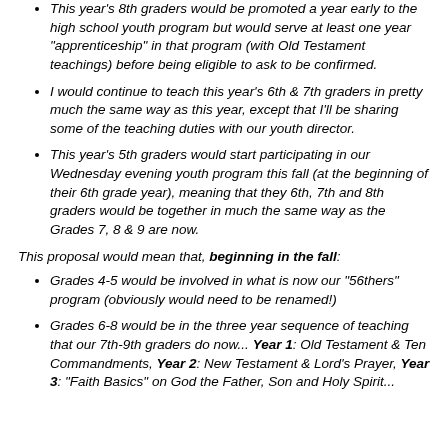This year's 8th graders would be promoted a year early to the high school youth program but would serve at least one year "apprenticeship" in that program (with Old Testament teachings) before being eligible to ask to be confirmed.
I would continue to teach this year's 6th & 7th graders in pretty much the same way as this year, except that I'll be sharing some of the teaching duties with our youth director.
This year's 5th graders would start participating in our Wednesday evening youth program this fall (at the beginning of their 6th grade year), meaning that they 6th, 7th and 8th graders would be together in much the same way as the Grades 7, 8 & 9 are now.
This proposal would mean that, beginning in the fall:
Grades 4-5 would be involved in what is now our "56thers" program (obviously would need to be renamed!)
Grades 6-8 would be in the three year sequence of teaching that our 7th-9th graders do now... Year 1: Old Testament & Ten Commandments, Year 2: New Testament & Lord's Prayer, Year 3: "Faith Basics" on God the Father, Son and Holy Spirit...